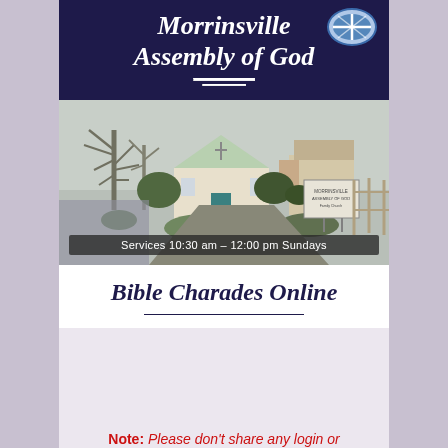Morrinsville Assembly of God
[Figure (photo): Exterior photo of Morrinsville Assembly of God church building — a small white wooden chapel with a green door and pitched roof, surrounded by trees and shrubs, with a church sign visible on the right side. A driveway leads to the front of the building.]
Services 10:30 am – 12:00 pm Sundays
Bible Charades Online
Note: Please don't share any login or